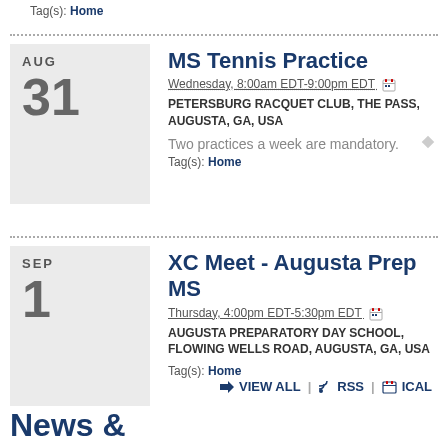Tag(s): Home
MS Tennis Practice
Wednesday, 8:00am EDT-9:00pm EDT
PETERSBURG RACQUET CLUB, THE PASS, AUGUSTA, GA, USA
Two practices a week are mandatory.
Tag(s): Home
XC Meet - Augusta Prep MS
Thursday, 4:00pm EDT-5:30pm EDT
AUGUSTA PREPARATORY DAY SCHOOL, FLOWING WELLS ROAD, AUGUSTA, GA, USA
Tag(s): Home
VIEW ALL | RSS | ICAL
News &